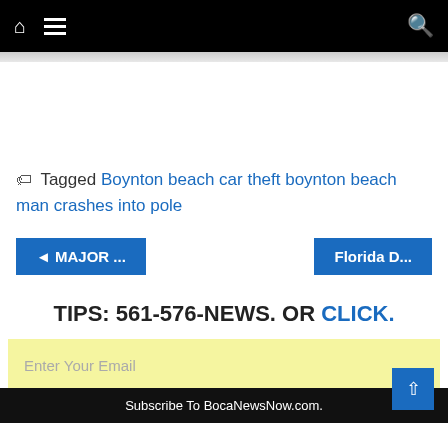Navigation bar with home, menu, and search icons
Tagged Boynton beach car theft boynton beach man crashes into pole
◄ MAJOR ...
Florida D...
TIPS: 561-576-NEWS. OR CLICK.
Enter Your Email
Subscribe To BocaNewsNow.com.